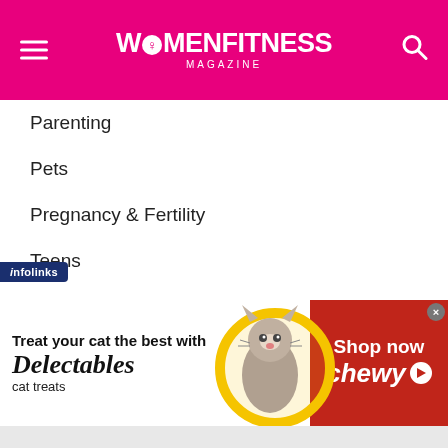WOMENFITNESS MAGAZINE
Parenting
Pets
Pregnancy & Fertility
Teens
TRAVEL & SPORTS
Adventure
Outfitters Guide
Photography
[Figure (infographic): Chewy advertisement: Treat your cat the best with Delectables cat treats. Shop now at Chewy. Features a cat photo and yellow circle graphic. Infolinks badge overlay.]